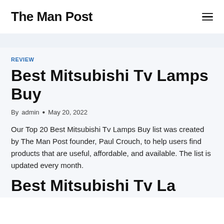The Man Post
REVIEW
Best Mitsubishi Tv Lamps Buy
By admin • May 20, 2022
Our Top 20 Best Mitsubishi Tv Lamps Buy list was created by The Man Post founder, Paul Crouch, to help users find products that are useful, affordable, and available. The list is updated every month.
Best Mitsubishi Tv...